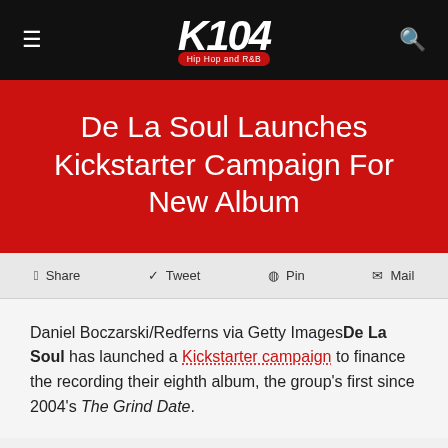K104 Hip Hop and R&B
De La Soul Launches Kickstarter Campaign For New Album
Share  Tweet  Pin  Mail
Daniel Boczarski/Redferns via Getty ImagesDe La Soul has launched a Kickstarter campaign to finance the recording their eighth album, the group's first since 2004's The Grind Date.